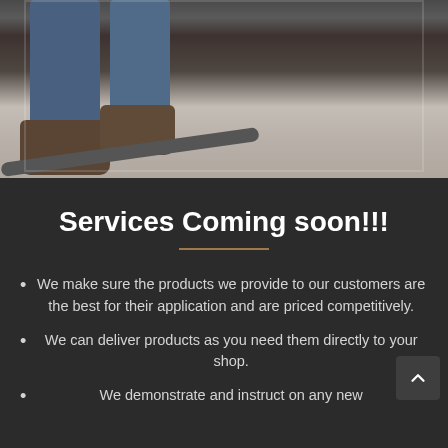[Figure (photo): Photo of a person's legs in jeans and work boots holding a hose on a concrete floor]
Services Coming soon!!!
We make sure the products we provide to our customers are the best for their application and are priced competitively.
We can deliver products as you need them directly to your shop.
We demonstrate and instruct on any new